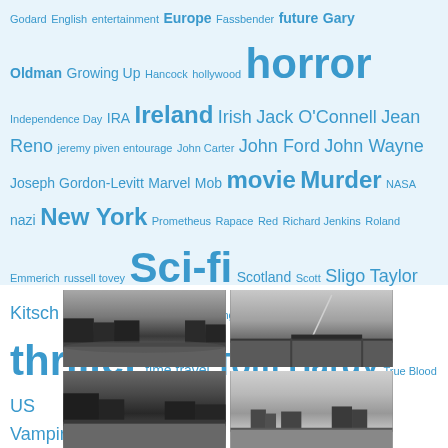[Figure (infographic): Tag cloud with various movie/entertainment related terms in varying sizes in blue on light blue background. Tags include: Godard, English, entertainment, Europe, Fassbender, future, Gary Oldman, Growing Up, Hancock, hollywood, horror, Independence Day, IRA, Ireland, Irish, Jack O'Connell, Jean Reno, jeremy piven entourage, John Carter, John Ford, John Wayne, Joseph Gordon-Levitt, Marvel, Mob, movie, Murder, NASA, nazi, New York, Prometheus, Rapace, Red, Richard Jenkins, Roland Emmerich, russell tovey, Sci-fi, Scotland, Scott, Sligo, Taylor Kitsch, Theron, The Visitor, The West Wing, Thilda Swinton, Thor, thriller, time travel, Tom Hardy, True Blood, US, Vampire, war, Zombie]
[Figure (photo): Black and white photo of Dublin riverside waterfront at dusk with building reflections]
[Figure (photo): Black and white photo of Samuel Beckett Bridge in Dublin at night]
[Figure (photo): Black and white photo of Dublin waterfront buildings]
[Figure (photo): Black and white photo of Dublin skyline with cloudy sky]